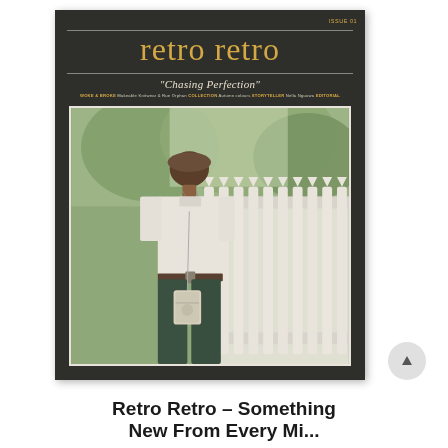[Figure (photo): Magazine cover of 'retro retro' Issue 01, dark background with gold title text, subtitle 'Chasing Perfection', featuring a cover photo of a person standing in front of a white picket fence wearing a white t-shirt and green trousers with a crossbody bag]
Retro Retro – Something New From Every Mi...